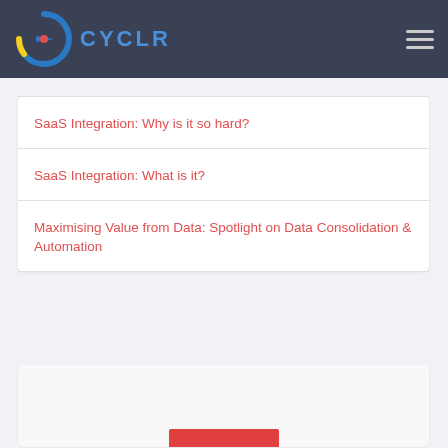CYCLR
SaaS Integration: Why is it so hard?
SaaS Integration: What is it?
Maximising Value from Data: Spotlight on Data Consolidation & Automation
[Figure (other): Partially visible card at bottom of page with a red bar element]